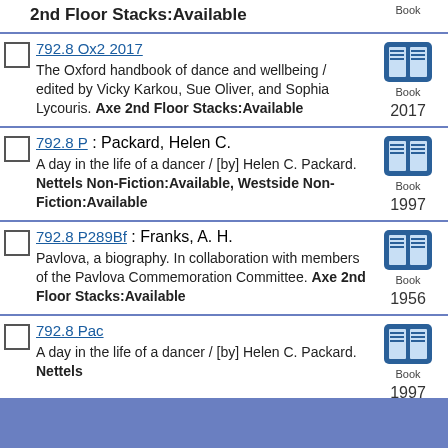2nd Floor Stacks:Available — Book
792.8 Ox2 2017 — The Oxford handbook of dance and wellbeing / edited by Vicky Karkou, Sue Oliver, and Sophia Lycouris. Axe 2nd Floor Stacks:Available — Book — 2017
792.8 P : Packard, Helen C. — A day in the life of a dancer / [by] Helen C. Packard. Nettels Non-Fiction:Available, Westside Non-Fiction:Available — Book — 1997
792.8 P289Bf : Franks, A. H. — Pavlova, a biography. In collaboration with members of the Pavlova Commemoration Committee. Axe 2nd Floor Stacks:Available — Book — 1956
792.8 Pac — A day in the life of a dancer / [by] Helen C. Packard. Nettels — Book — 1997